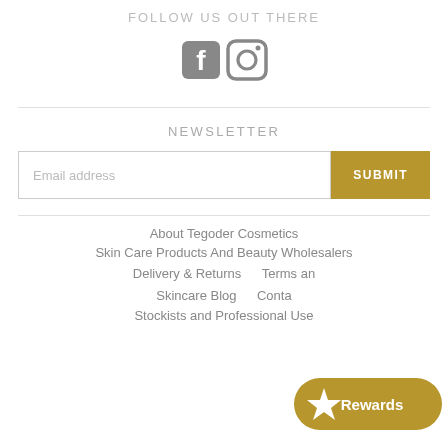FOLLOW US OUT THERE
[Figure (illustration): Facebook and Instagram social media icons in grey]
NEWSLETTER
Email address
SUBMIT
About Tegoder Cosmetics
Skin Care Products And Beauty Wholesalers
Delivery & Returns
Terms an...
Skincare Blog
Conta...
Stockists and Professional Use
[Figure (illustration): Rewards button with gold star icon and 'Rewards' text on golden pill-shaped button]